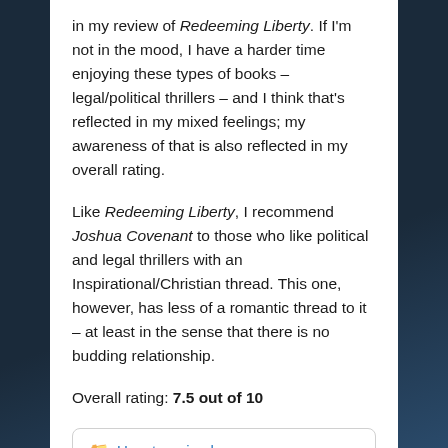in my review of Redeeming Liberty. If I'm not in the mood, I have a harder time enjoying these types of books – legal/political thrillers – and I think that's reflected in my mixed feelings; my awareness of that is also reflected in my overall rating.
Like Redeeming Liberty, I recommend Joshua Covenant to those who like political and legal thrillers with an Inspirational/Christian thread. This one, however, has less of a romantic thread to it – at least in the sense that there is no budding relationship.
Overall rating: 7.5 out of 10
Uncategorized